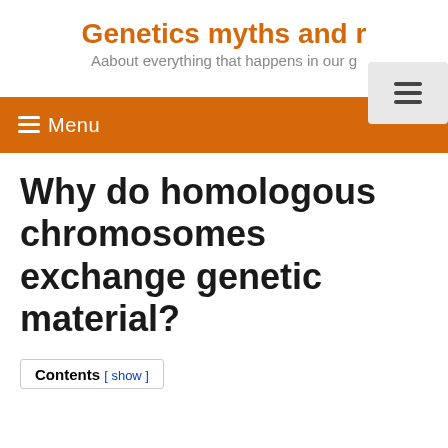Genetics myths and r
Aabout everything that happens in our g
[Figure (other): Hamburger menu icon button in a light grey rounded box, positioned top right]
≡ Menu
Why do homologous chromosomes exchange genetic material?
Contents [ show ]